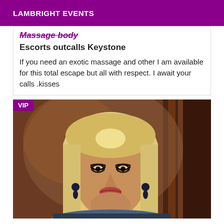LAMBRIGHT EVENTS
Massage body
Escorts outcalls Keystone
If you need an exotic massage and other I am available for this total escape but all with respect. I await your calls .kisses
[Figure (photo): Portrait photo of a blonde woman with dark makeup wearing earrings, with a warm brown/reddish background. A VIP badge is shown in the upper left corner.]